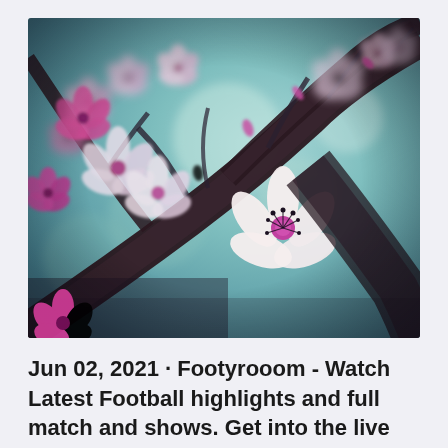[Figure (photo): Close-up photograph of cherry blossom flowers on dark branches. Pink and white blossoms with magenta centers against a blurred teal/mint background. Artistic, muted tones with a shallow depth of field.]
Jun 02, 2021 · Footyrooom - Watch Latest Football highlights and full match and shows. Get into the live action with the liv...